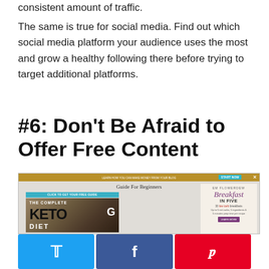consistent amount of traffic.
The same is true for social media. Find out which social media platform your audience uses the most and grow a healthy following there before trying to target additional platforms.
#6: Don't Be Afraid to Offer Free Content
[Figure (screenshot): Screenshot of a website showing a 'Guide For Beginners' page with keto diet content and a Breakfast in Five book advertisement]
[Figure (infographic): Social media share buttons for Twitter, Facebook, and Pinterest]